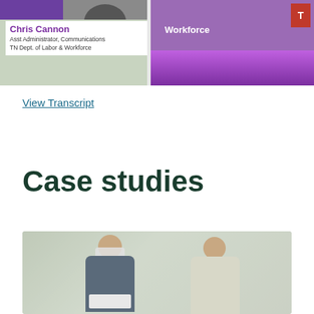[Figure (screenshot): Video conference screenshot showing Chris Cannon, Asst Administrator Communications, TN Dept. of Labor & Workforce, on the left panel, and a purple/magenta branded panel on the right with 'Workforce' text and TN logo]
View Transcript
Case studies
[Figure (photo): Photo of a person wearing a face mask and headphones holding a laptop, talking with another person outdoors on a campus setting]